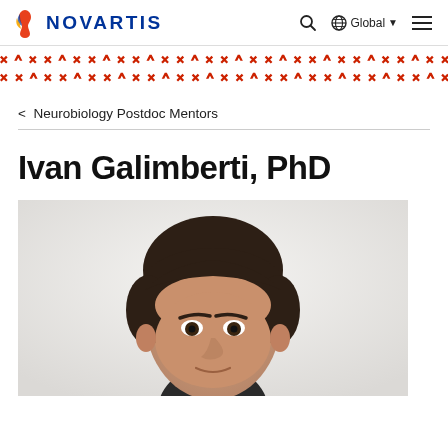NOVARTIS | Global
[Figure (illustration): Novartis decorative pattern band with red X and caret symbols repeating across the full width]
< Neurobiology Postdoc Mentors
Ivan Galimberti, PhD
[Figure (photo): Professional headshot of Ivan Galimberti, a man with dark brown hair, looking slightly downward, against a light/white background]